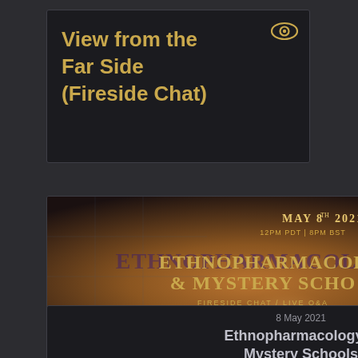View from the Far Side (Fireside Chat)
[Figure (illustration): Event promotional image for Ethnopharmacology & Mystery Schools Fireside Chat / Live Q&A with Dennis McKenna and Brian Muraresku, May 8th 2021, 12pm PDT | 8pm BST. Warm amber/orange background with a glowing bowl. Overlapping purple card for ETHNOPHARMACOLOGY FOR PSYCHEDELICS SYMPOSIUM 23-...]
8 May 2021
Ethnopharmacology & Mystery Schools
Organizer(s): McKenna Academy